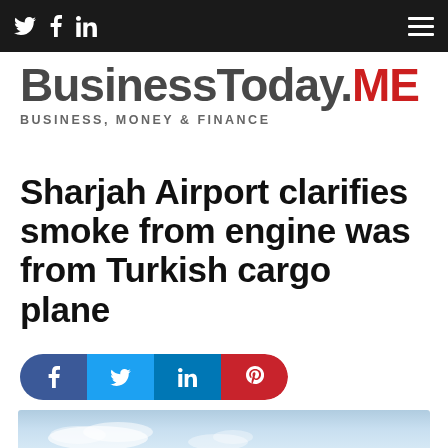BusinessToday.ME — Navigation bar with social icons and hamburger menu
[Figure (logo): BusinessToday.ME logo — 'BusinessToday.' in dark grey bold, 'ME' in red bold, with tagline 'BUSINESS, MONEY & FINANCE']
Sharjah Airport clarifies smoke from engine was from Turkish cargo plane
[Figure (infographic): Social share buttons row: Facebook (dark blue), Twitter (light blue), LinkedIn (medium blue), Pinterest (red)]
[Figure (photo): Partial photo of a blue sky with white clouds, cropped at bottom of page]